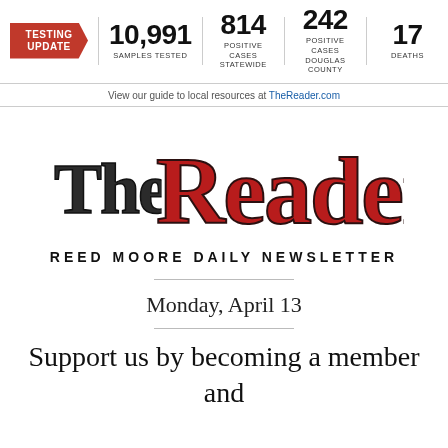[Figure (infographic): Testing Update banner showing Nebraska COVID-19 stats: 10,991 Samples Tested, 814 Positive Cases Statewide, 242 Positive Cases Douglas County, 17 Deaths]
View our guide to local resources at TheReader.com
[Figure (logo): The Reader - Reed Moore Daily Newsletter logo]
REED MOORE DAILY NEWSLETTER
Monday, April 13
Support us by becoming a member and